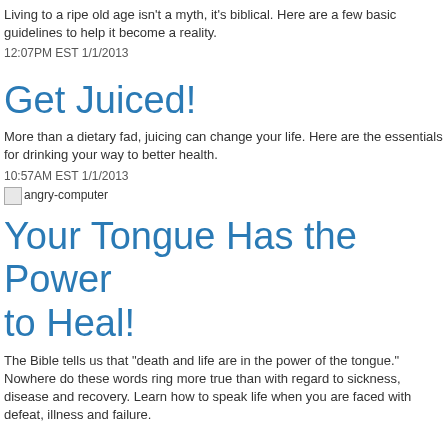Living to a ripe old age isn’t a myth, it’s biblical. Here are a few basic guidelines to help it become a reality.
12:07PM EST 1/1/2013
Get Juiced!
More than a dietary fad, juicing can change your life. Here are the essentials for drinking your way to better health.
10:57AM EST 1/1/2013
[Figure (photo): Broken image placeholder labeled angry-computer]
Your Tongue Has the Power to Heal!
The Bible tells us that "death and life are in the power of the tongue." Nowhere do these words ring more true than with regard to sickness, disease and recovery. Learn how to speak life when you are faced with defeat, illness and failure.